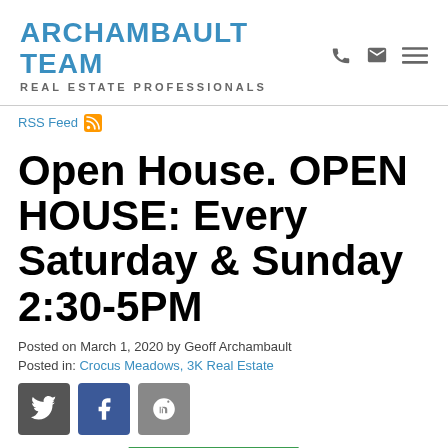ARCHAMBAULT TEAM REAL ESTATE PROFESSIONALS
RSS Feed
Open House. OPEN HOUSE: Every Saturday & Sunday 2:30-5PM
Posted on March 1, 2020 by Geoff Archambault
Posted in: Crocus Meadows, 3K Real Estate
[Figure (other): Social share buttons: Twitter, Facebook, Pinterest]
[Figure (photo): Partial image of an open house sign with green banner and house graphic, cropped at bottom of page]